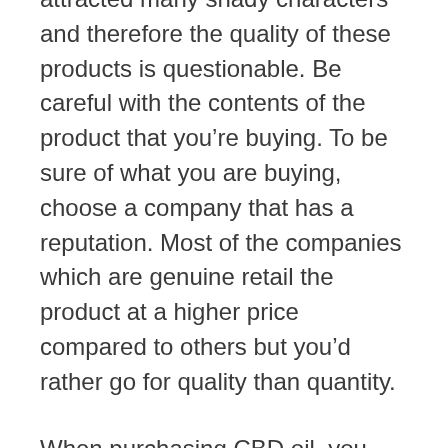attracted many shady characters and therefore the quality of these products is questionable. Be careful with the contents of the product that you're buying. To be sure of what you are buying, choose a company that has a reputation. Most of the companies which are genuine retail the product at a higher price compared to others but you'd rather go for quality than quantity.
When purchasing CBD oil, you have to ensure that the important elements are primed and therefore you expect the product to be effective. The quality